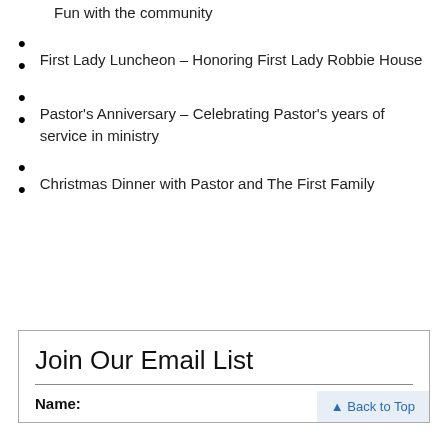Fun with the community
First Lady Luncheon – Honoring First Lady Robbie House
Pastor's Anniversary – Celebrating Pastor's years of service in ministry
Christmas Dinner with Pastor and The First Family
Join Our Email List
Name: